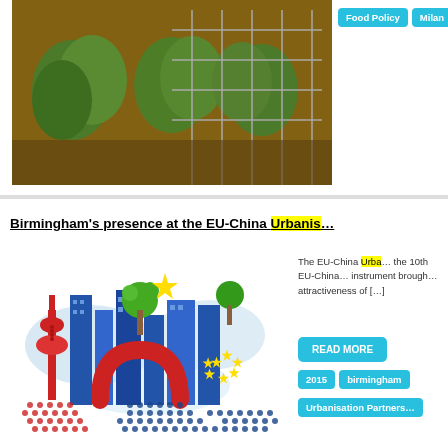[Figure (photo): Garden photo showing vegetable plants and a wire frame/trellis structure on soil]
Food Policy
Milan
Birmingham's presence at the EU-China Urbanis…
[Figure (illustration): EU-China Urbanisation Partnership logo illustration with cityscape including Oriental Pearl Tower, blue skyscrapers, trees, EU stars arch, yellow star, and dotted pattern]
The EU-China Urba… the 10th EU-China… instrument brough… attractiveness of […]
READ MORE
2015
birmingham
Urbanisation Partners…